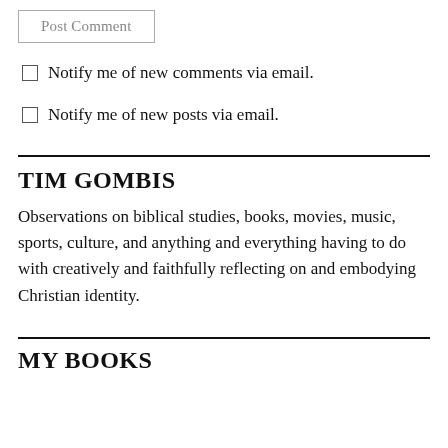Post Comment
Notify me of new comments via email.
Notify me of new posts via email.
TIM GOMBIS
Observations on biblical studies, books, movies, music, sports, culture, and anything and everything having to do with creatively and faithfully reflecting on and embodying Christian identity.
MY BOOKS